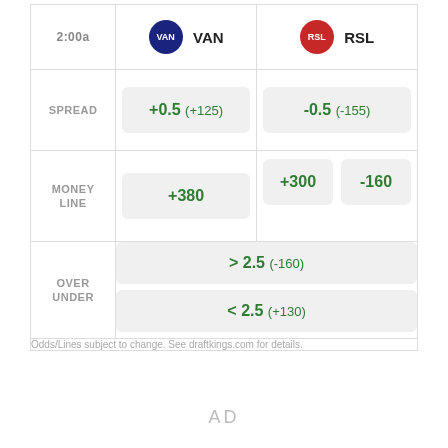|  | VAN | RSL |
| --- | --- | --- |
| 2:00a | VAN | RSL |
| SPREAD | +0.5  (+125) | -0.5  (-155) |
| MONEY LINE | +380 | +300 | -160 |
| OVER UNDER | > 2.5  (-160) | < 2.5  (+130) |
Odds/Lines subject to change. See draftkings.com for details.
AD